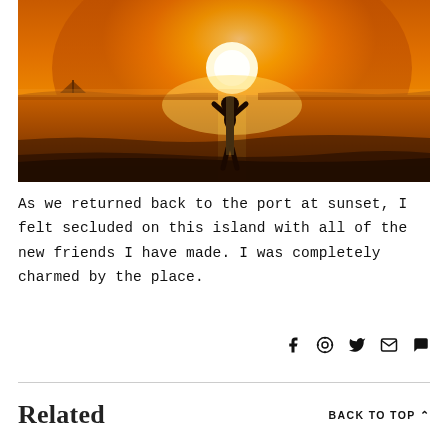[Figure (photo): Silhouette of a person standing on a beach with arms raised, photographed against a large brilliant sunset over calm water. Golden orange sky and sun reflecting on the water surface. A sailboat visible in the far left.]
As we returned back to the port at sunset, I felt secluded on this island with all of the new friends I have made. I was completely charmed by the place.
f ⊕ ✓ ✉ ●
Related
BACK TO TOP ∧